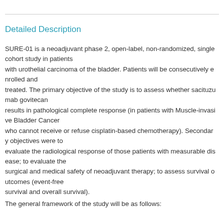Detailed Description
SURE-01 is a neoadjuvant phase 2, open-label, non-randomized, single cohort study in patients with urothelial carcinoma of the bladder. Patients will be consecutively enrolled and treated. The primary objective of the study is to assess whether sacituzumab govitecan results in pathological complete response (in patients with Muscle-invasive Bladder Cancer who cannot receive or refuse cisplatin-based chemotherapy). Secondary objectives were to evaluate the radiological response of those patients with measurable disease; to evaluate the surgical and medical safety of neoadjuvant therapy; to assess survival outcomes (event-free survival and overall survival).
The general framework of the study will be as follows: